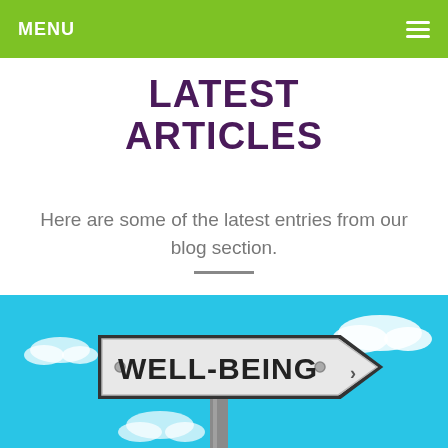MENU
LATEST ARTICLES
Here are some of the latest entries from our blog section.
[Figure (photo): A directional road sign pointing right with the text 'WELL-BEING' on a blue sky background with white clouds.]